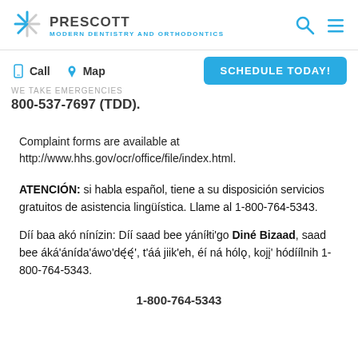[Figure (logo): Prescott Modern Dentistry and Orthodontics logo with snowflake-style icon and search/menu icons in header]
Call   Map   WE TAKE EMERGENCIES   SCHEDULE TODAY!
800-537-7697 (TDD).
Complaint forms are available at http://www.hhs.gov/ocr/office/file/index.html.
ATENCIÓN:  si habla español, tiene a su disposición servicios gratuitos de asistencia lingüística. Llame al 1-800-764-5343.
Díí baa akó nínízin: Díí saad bee yáníłti'go Diné Bizaad, saad bee áká'ánída'áwo'dęę', t'áá jiik'eh, éí ná hólǫ, kojį' hódíílnih 1-800-764-5343.
1-800-764-5343